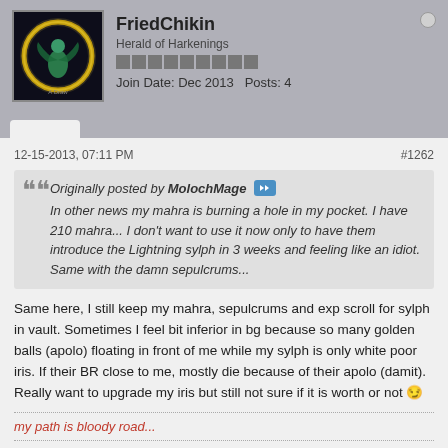[Figure (photo): Forum user avatar showing a character with a glowing ring on dark background, labeled 'FriedChikin']
FriedChikin
Herald of Harkenings
Join Date: Dec 2013  Posts: 4
12-15-2013, 07:11 PM
#1262
Originally posted by MolochMage
In other news my mahra is burning a hole in my pocket. I have 210 mahra... I don't want to use it now only to have them introduce the Lightning sylph in 3 weeks and feeling like an idiot. Same with the damn sepulcrums...
Same here, I still keep my mahra, sepulcrums and exp scroll for sylph in vault. Sometimes I feel bit inferior in bg because so many golden balls (apolo) floating in front of me while my sylph is only white poor iris. If their BR close to me, mostly die because of their apolo (damit). Really want to upgrade my iris but still not sure if it is worth or not 😏
my path is bloody road...